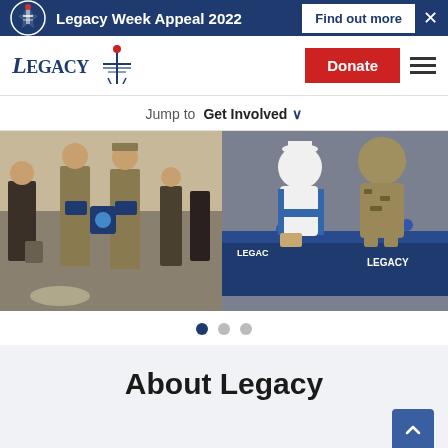Legacy Week Appeal 2022  Find out more  ×
[Figure (logo): Legacy Australia logo with torch icon and italic bold text]
Jump to  Get Involved ∨
[Figure (photo): Two photos side by side: left shows military personnel in uniform holding Legacy merchandise at an outdoor event; right shows two mascot characters (sailor and camouflage) at a Legacy branded table]
● ○ ○ (carousel dots)
About Legacy